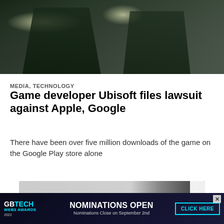[Figure (photo): Dark screenshot from a video game showing two armed figures in action poses with flashlights/muzzle flares, dark urban setting]
MEDIA, TECHNOLOGY
Game developer Ubisoft files lawsuit against Apple, Google
There have been over five million downloads of the game on the Google Play store alone
[Figure (screenshot): Partially blurred/obscured image with a dark object on the right side, with a close button (X) overlay]
[Figure (infographic): Advertisement banner: GB TECH WEB3 AWARDS 2022 - NOMINATIONS OPEN, Nominations Close on September 2nd, CLICK HERE button]